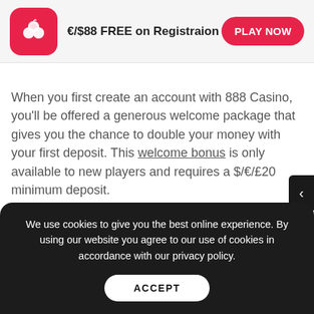€/$88 FREE on Registraion | PLAY NOW
When you first create an account with 888 Casino, you'll be offered a generous welcome package that gives you the chance to double your money with your first deposit. This welcome bonus is only available to new players and requires a $/€/£20 minimum deposit.
New players can earn up to $/€/£100 in free bonus money by taking advantage of the 100% deposit match. For example, if you deposit $/€/£100 then you play with $/€/£200. Bonus wins are capped at $/€/
We use cookies to give you the best online experience. By using our website you agree to our use of cookies in accordance with our privacy policy.